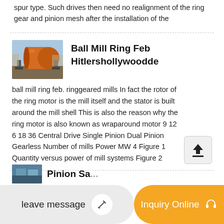spur type. Such drives then need no realignment of the ring gear and pinion mesh after the installation of the
Ball Mill Ring Feb Hitlershollywoodde
ball mill ring feb. ringgeared mills In fact the rotor of the ring motor is the mill itself and the stator is built around the mill shell This is also the reason why the ring motor is also known as wraparound motor 9 12 6 18 36 Central Drive Single Pinion Dual Pinion Gearless Number of mills Power MW 4 Figure 1 Quantity versus power of mill systems Figure 2
leave message
Inquiry Online
Pinion Sa...